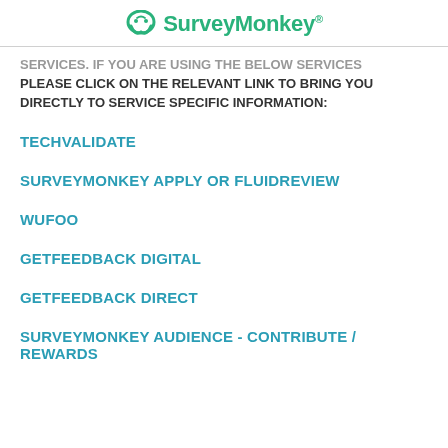SurveyMonkey®
SERVICES. IF YOU ARE USING THE BELOW SERVICES PLEASE CLICK ON THE RELEVANT LINK TO BRING YOU DIRECTLY TO SERVICE SPECIFIC INFORMATION:
TECHVALIDATE
SURVEYMONKEY APPLY OR FLUIDREVIEW
WUFOO
GETFEEDBACK DIGITAL
GETFEEDBACK DIRECT
SURVEYMONKEY AUDIENCE - CONTRIBUTE / REWARDS